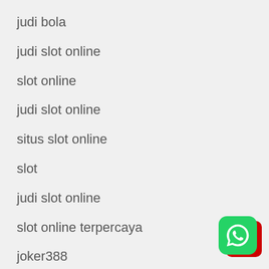judi bola
judi slot online
slot online
judi slot online
situs slot online
slot
judi slot online
slot online terpercaya
joker388
[Figure (logo): WhatsApp logo icon with green rounded square background and red square behind it]